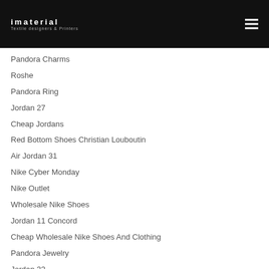imaterial
Textile designers & Printers
Pandora Charms
Roshe
Pandora Ring
Jordan 27
Cheap Jordans
Red Bottom Shoes Christian Louboutin
Air Jordan 31
Nike Cyber Monday
Nike Outlet
Wholesale Nike Shoes
Jordan 11 Concord
Cheap Wholesale Nike Shoes And Clothing
Pandora Jewelry
Jordan 33
Toddler Jordans